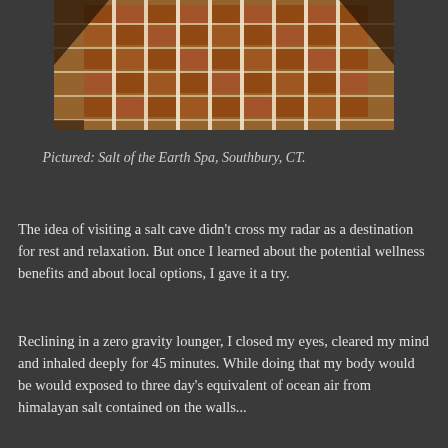[Figure (photo): Photo of a salt cave interior with illuminated himalayan salt tiles on walls and floor, arranged in a grid pattern emitting warm orange-brown glow with bright white light between the tiles.]
Pictured: Salt of the Earth Spa, Southbury, CT.
The idea of visiting a salt cave didn't cross my radar as a destination for rest and relaxation. But once I learned about the potential wellness benefits and about local options, I gave it a try.
Reclining in a zero gravity lounger, I closed my eyes, cleared my mind and inhaled deeply for 45 minutes. While doing that my body would be would exposed to three day's equivalent of ocean air from himalayan salt contained on the walls...